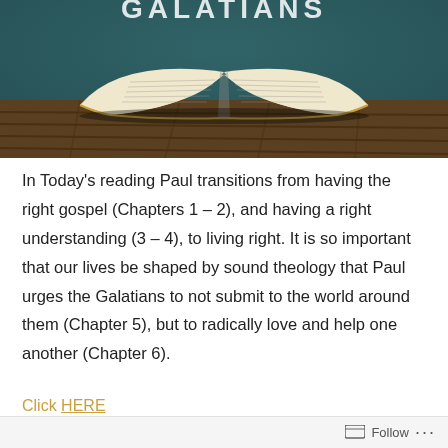[Figure (photo): Photo of an open Bible on a wooden surface against a dark teal background with the word GALATIANS written in large letters at the top]
In Today's reading Paul transitions from having the right gospel (Chapters 1 – 2), and having a right understanding (3 – 4), to living right. It is so important that our lives be shaped by sound theology that Paul urges the Galatians to not submit to the world around them (Chapter 5), but to radically love and help one another (Chapter 6).